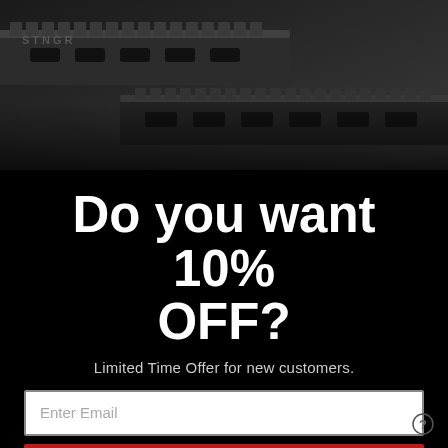[Figure (photo): Close-up photo of black tactical rifle handguard/rail system with STNGR branding, showing Picatinny rails and M-LOK slots, dark metallic finish]
Do you want 10% OFF?
Limited Time Offer for new customers.
Enter Email
Yes, give me 10% Off
No Thanks